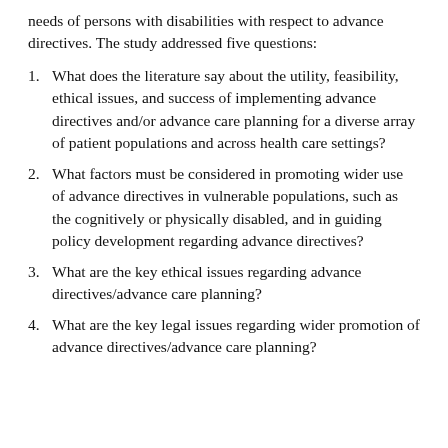needs of persons with disabilities with respect to advance directives. The study addressed five questions:
1. What does the literature say about the utility, feasibility, ethical issues, and success of implementing advance directives and/or advance care planning for a diverse array of patient populations and across health care settings?
2. What factors must be considered in promoting wider use of advance directives in vulnerable populations, such as the cognitively or physically disabled, and in guiding policy development regarding advance directives?
3. What are the key ethical issues regarding advance directives/advance care planning?
4. What are the key legal issues regarding wider promotion of advance directives/advance care planning?